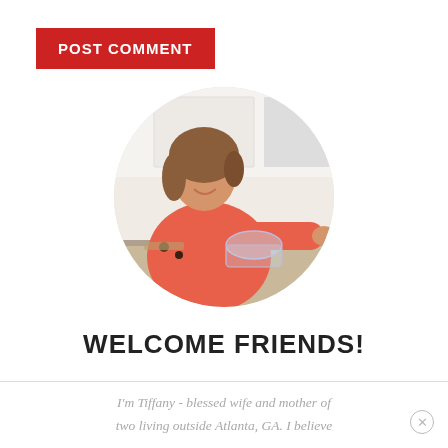POST COMMENT
[Figure (photo): Circular cropped photo of a smiling woman in a pink/coral top working in a bright white kitchen, reaching toward something on the counter with a glass bowl in front of her.]
WELCOME FRIENDS!
I'm Tiffany - blessed wife and mother of two living outside Atlanta, GA. I believe